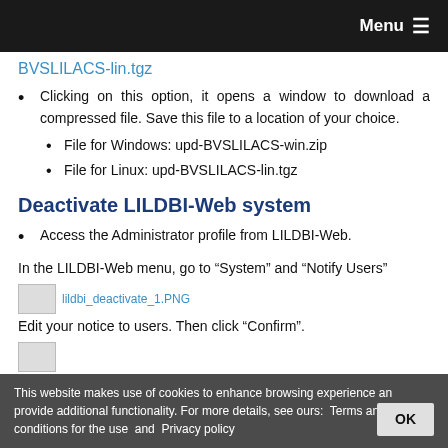Menu ≡
BVSLILACS-lin.tgz
Clicking on this option, it opens a window to download a compressed file. Save this file to a location of your choice.
File for Windows: upd-BVSLILACS-win.zip
File for Linux: upd-BVSLILACS-lin.tgz
Deactivate LILDBI-Web system
Access the Administrator profile from LILDBI-Web.
In the LILDBI-Web menu, go to “System” and “Notify Users”
[Figure (screenshot): Screenshot thumbnail labeled lildbi_deactivate_1.PNG]
Edit your notice to users. Then click “Confirm”.
[Figure (screenshot): Second screenshot thumbnail]
This website makes use of cookies to enhance browsing experience and provide additional functionality. For more details, see ours: Terms and conditions for the use and Privacy policy